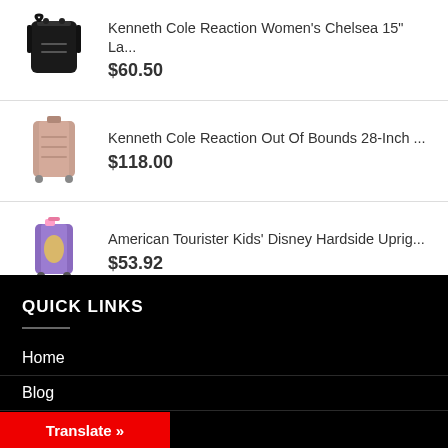[Figure (photo): Black backpack product image]
Kenneth Cole Reaction Women's Chelsea 15" La...
$60.50
[Figure (photo): Rose gold hardside spinner luggage product image]
Kenneth Cole Reaction Out Of Bounds 28-Inch ...
$118.00
[Figure (photo): Purple kids Disney hardside luggage product image]
American Tourister Kids' Disney Hardside Uprig...
$53.92
QUICK LINKS
Home
Blog